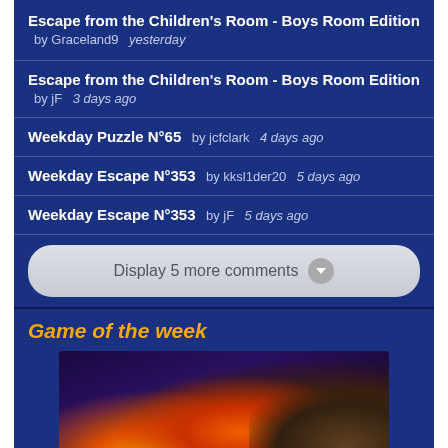Escape from the Children's Room - Boys Room Edition  by Graceland9  yesterday
Escape from the Children's Room - Boys Room Edition  by jF  3 days ago
Weekday Puzzle N°65  by jcfclark  4 days ago
Weekday Escape N°353  by kksl1der20  5 days ago
Weekday Escape N°353  by jF  5 days ago
Display 5 more comments
Game of the week
[Figure (screenshot): Game promotional image with fantasy/action theme showing fire and dramatic scene]